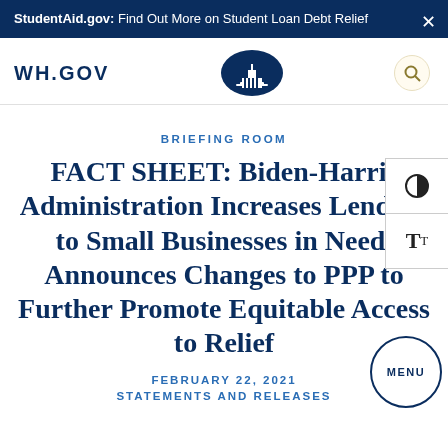StudentAid.gov: Find Out More on Student Loan Debt Relief
[Figure (screenshot): WH.GOV navigation bar with White House logo emblem and search icon]
BRIEFING ROOM
FACT SHEET: Biden-Harris Administration Increases Lending to Small Businesses in Need, Announces Changes to PPP to Further Promote Equitable Access to Relief
FEBRUARY 22, 2021
STATEMENTS AND RELEASES